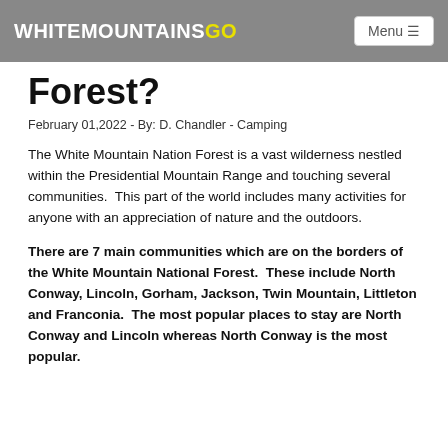WHITEMOUNTAINSGO | Menu
Forest?
February 01,2022 - By: D. Chandler - Camping
The White Mountain Nation Forest is a vast wilderness nestled within the Presidential Mountain Range and touching several communities.  This part of the world includes many activities for anyone with an appreciation of nature and the outdoors.
There are 7 main communities which are on the borders of the White Mountain National Forest.  These include North Conway, Lincoln, Gorham, Jackson, Twin Mountain, Littleton and Franconia.  The most popular places to stay are North Conway and Lincoln whereas North Conway is the most popular.